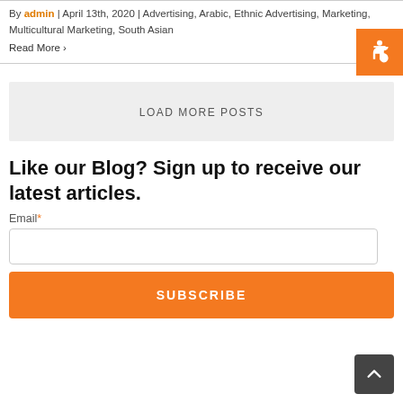By admin | April 13th, 2020 | Advertising, Arabic, Ethnic Advertising, Marketing, Multicultural Marketing, South Asian
Read More >
[Figure (other): Orange accessibility wheelchair icon button in top right corner]
LOAD MORE POSTS
Like our Blog? Sign up to receive our latest articles.
Email*
[Figure (other): Email input text field, empty, with rounded border]
SUBSCRIBE
[Figure (other): Dark grey back-to-top button with upward chevron arrow in bottom right corner]